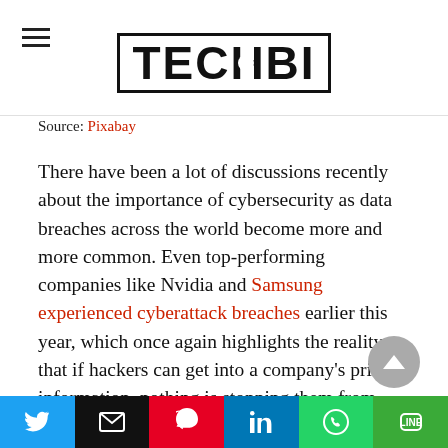TECHBI (logo)
Source: Pixabay
There have been a lot of discussions recently about the importance of cybersecurity as data breaches across the world become more and more common. Even top-performing companies like Nvidia and Samsung experienced cyberattack breaches earlier this year, which once again highlights the reality that if hackers can get into a company’s private information, nothing is stopping them from getting into yours or your family and friends. After all, regular people tend to have fewer security measures in place than companies trading on the stock
Social share buttons: Twitter, Email, Pinterest, LinkedIn, WhatsApp, LINE